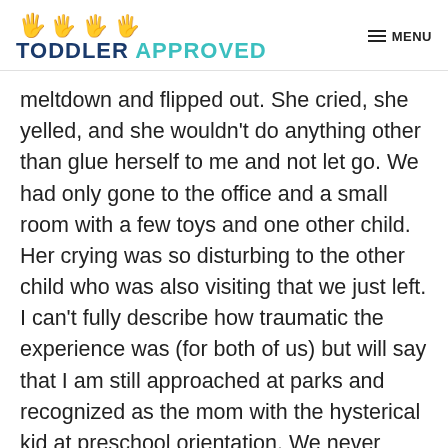TODDLER APPROVED | MENU
meltdown and flipped out. She cried, she yelled, and she wouldn't do anything other than glue herself to me and not let go. We had only gone to the office and a small room with a few toys and one other child. Her crying was so disturbing to the other child who was also visiting that we just left. I can't fully describe how traumatic the experience was (for both of us) but will say that I am still approached at parks and recognized as the mom with the hysterical kid at preschool orientation. We never went back.